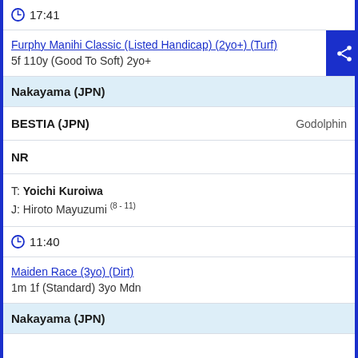17:41
Furphy Manihi Classic (Listed Handicap) (2yo+) (Turf)
5f 110y (Good To Soft) 2yo+
Nakayama (JPN)
BESTIA (JPN)   Godolphin
NR
T: Yoichi Kuroiwa
J: Hiroto Mayuzumi (8 - 11)
11:40
Maiden Race (3yo) (Dirt)
1m 1f (Standard) 3yo Mdn
Nakayama (JPN)